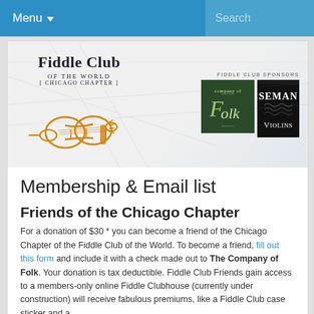Menu  Search
[Figure (logo): Fiddle Club of the World [Chicago Chapter] banner with golden violin illustration and sponsor logos (Company of Folk, Seman Violins)]
Membership & Email list
Friends of the Chicago Chapter
For a donation of $30 * you can become a friend of the Chicago Chapter of the Fiddle Club of the World. To become a friend, fill out this form and include it with a check made out to The Company of Folk. Your donation is tax deductible. Fiddle Club Friends gain access to a members-only online Fiddle Clubhouse (currently under construction) will receive fabulous premiums, like a Fiddle Club case sticker and a